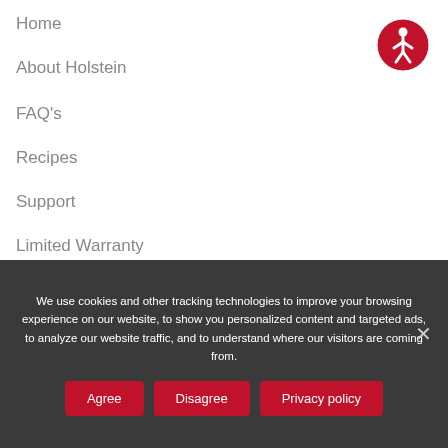Home
About Holstein
FAQ's
Recipes
Support
Limited Warranty
[Figure (illustration): Accessibility icon - red circle with white stick figure person]
OUR PRODUCTS
We use cookies and other tracking technologies to improve your browsing experience on our website, to show you personalized content and targeted ads, to analyze our website traffic, and to understand where our visitors are coming from.